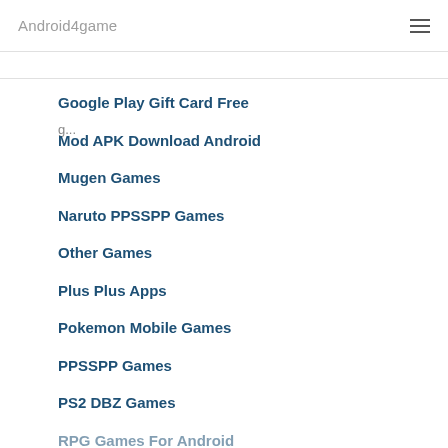Android4game
Google Play Gift Card Free
Mod APK Download Android
Mugen Games
Naruto PPSSPP Games
Other Games
Plus Plus Apps
Pokemon Mobile Games
PPSSPP Games
PS2 DBZ Games
RPG Games For Android